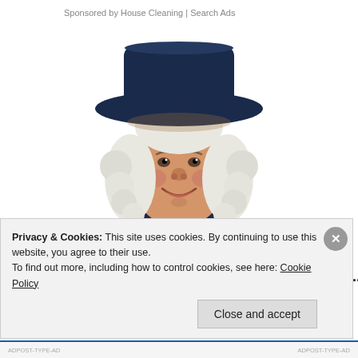Sponsored by House Cleaning | Search Ads
[Figure (illustration): Illustration of the Quaker Oats man — a smiling colonial-era figure with white curly hair, a navy blue hat and coat, and a white cravat.]
Almost Nobody Has Passed This Classic Logo Quiz...
Privacy & Cookies: This site uses cookies. By continuing to use this website, you agree to their use.
To find out more, including how to control cookies, see here: Cookie Policy
Close and accept